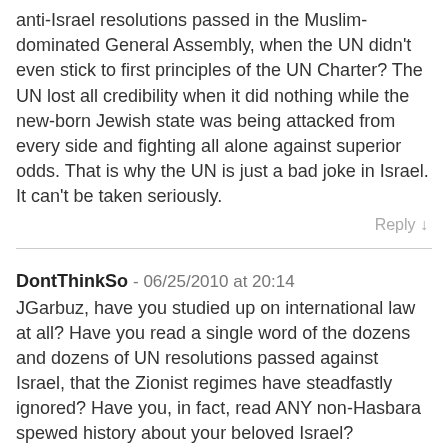anti-Israel resolutions passed in the Muslim-dominated General Assembly, when the UN didn't even stick to first principles of the UN Charter? The UN lost all credibility when it did nothing while the new-born Jewish state was being attacked from every side and fighting all alone against superior odds. That is why the UN is just a bad joke in Israel. It can't be taken seriously.
Reply ↓
DontThinkSo - 06/25/2010 at 20:14
JGarbuz, have you studied up on international law at all? Have you read a single word of the dozens and dozens of UN resolutions passed against Israel, that the Zionist regimes have steadfastly ignored? Have you, in fact, read ANY non-Hasbara spewed history about your beloved Israel?
Reply ↓